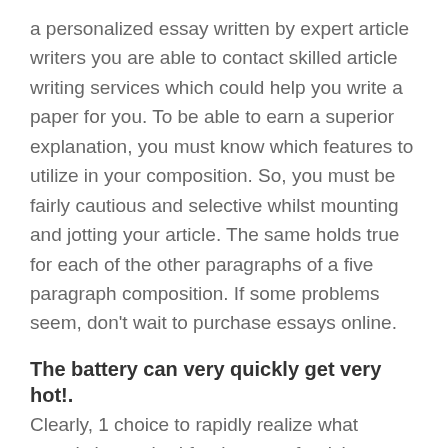a personalized essay written by expert article writers you are able to contact skilled article writing services which could help you write a paper for you. To be able to earn a superior explanation, you must know which features to utilize in your composition. So, you must be fairly cautious and selective whilst mounting and jotting your article. The same holds true for each of the other paragraphs of a five paragraph composition. If some problems seem, don't wait to purchase essays online.
The battery can very quickly get very hot!.
Clearly, 1 choice to rapidly realize what exactly is required for the sort of article you were requested to compose will be to acquire some kind of sample composition creating to utilize as helpful information. Illustrative essays are kinds where you're supposed to extend a explanation of the chosen object. Inside this section you'll find examples of essays owned by